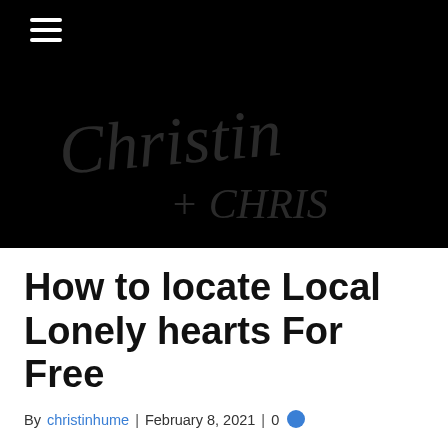[Figure (logo): Black header banner with hamburger menu icon and cursive 'Christin + CHRIS' logo in dark gray on black background]
How to locate Local Lonely hearts For Free
By christinhume | February 8, 2021 | 0
Whether it's single breaking news and looking just for singles in